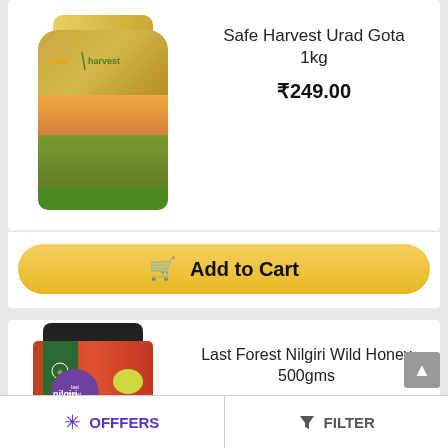[Figure (photo): Safe Harvest Urad Gota 1kg product bag with brand logo and field scene]
Safe Harvest Urad Gota 1kg
₹249.00
Add to Cart
[Figure (photo): Last Forest Nilgiri Wild Honey 500gms jar with green band and purple label]
Last Forest Nilgiri Wild Honey 500gms
₹495.00
OFFFERS   FILTER